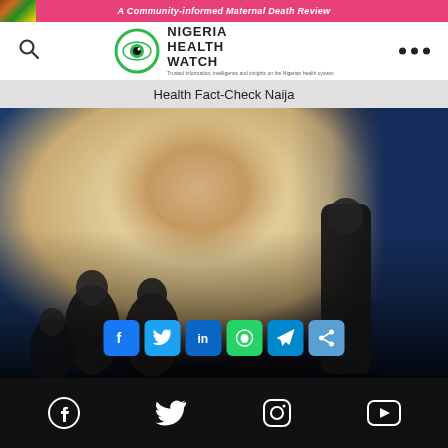A Community-informed Maternal Death Review
[Figure (logo): Nigeria Health Watch logo with eye icon and text NIGERIA HEALTH WATCH with tagline]
Health Fact-Check Naija
[Figure (photo): A presenter standing at a podium speaking to an audience in a conference room, with a large projector screen showing a faded maternal health image in the background. Social share buttons overlay the bottom of the image: Facebook, Twitter, LinkedIn, WhatsApp, Telegram, Share.]
Social media icons: Facebook, Twitter, Instagram, YouTube